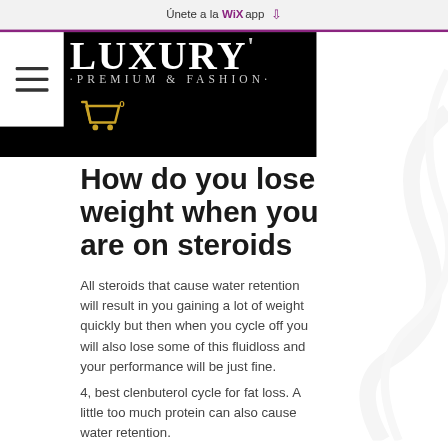Únete a la WiXapp ⬇
[Figure (logo): Luxury Premium & Fashion logo in white serif font on black background, with hamburger menu icon on left and shopping cart icon below]
How do you lose weight when you are on steroids
All steroids that cause water retention will result in you gaining a lot of weight quickly but then when you cycle off you will also lose some of this fluidloss and your performance will be just fine.
4, best clenbuterol cycle for fat loss. A little too much protein can also cause water retention.